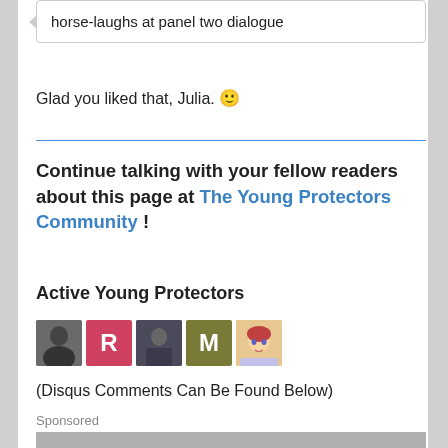horse-laughs at panel two dialogue
Glad you liked that, Julia. 🙂
Continue talking with your fellow readers about this page at The Young Protectors Community !
Active Young Protectors
[Figure (illustration): Five user avatars in a row: a man in dark clothing (photo), letter R on pink background, a costumed figure (photo), letter M on olive background, an anime-style character]
(Disqus Comments Can Be Found Below)
Sponsored
[Figure (photo): A man in a dark jacket leaning forward, looking at something off-screen, with dark furniture in the background]